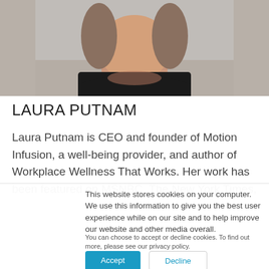[Figure (photo): Headshot photo of Laura Putnam, a woman wearing a black top, cropped at the shoulders, against a grey background]
LAURA PUTNAM
Laura Putnam is CEO and founder of Motion Infusion, a well-being provider, and author of Workplace Wellness That Works. Her work has been featured on MSNBC, The New York Times,
This website stores cookies on your computer. We use this information to give you the best user experience while on our site and to help improve our website and other media overall.
You can choose to accept or decline cookies. To find out more, please see our privacy policy.